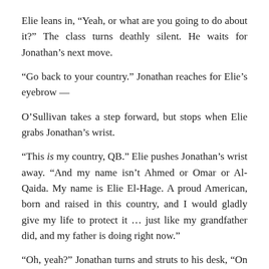Elie leans in, “Yeah, or what are you going to do about it?” The class turns deathly silent. He waits for Jonathan’s next move.
“Go back to your country.” Jonathan reaches for Elie’s eyebrow —
O’Sullivan takes a step forward, but stops when Elie grabs Jonathan’s wrist.
“This is my country, QB.” Elie pushes Jonathan’s wrist away. “And my name isn’t Ahmed or Omar or Al-Qaida. My name is Elie El-Hage. A proud American, born and raised in this country, and I would gladly give my life to protect it … just like my grandfather did, and my father is doing right now.”
“Oh, yeah?” Jonathan turns and struts to his desk, “On whose side, Mohammed?”